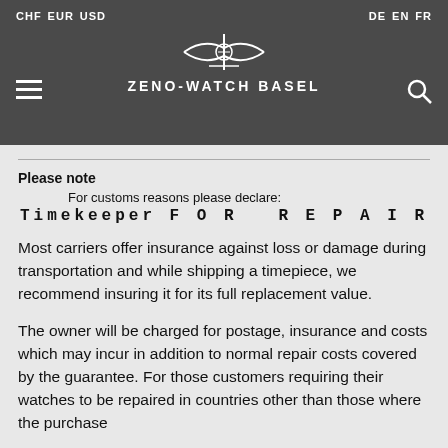CHF EUR USD | ZENO-WATCH BASEL | DE EN FR
You are responsible for all duties, taxes, freight or other fees associated with shipping your watch to our Service Center, failure to do so, may result in refusal of the package.
Please note
For customs reasons please declare:
Timekeeper FOR REPAIR
Most carriers offer insurance against loss or damage during transportation and while shipping a timepiece, we recommend insuring it for its full replacement value.
The owner will be charged for postage, insurance and costs which may incur in addition to normal repair costs covered by the guarantee. For those customers requiring their watches to be repaired in countries other than those where the purchase